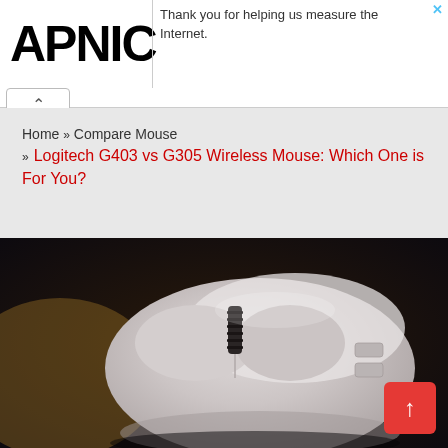APNIC | Thank you for helping us measure the Internet.
Home » Compare Mouse » Logitech G403 vs G305 Wireless Mouse: Which One is For You?
[Figure (photo): Close-up photograph of a white Logitech wireless gaming mouse (G305) on a dark blurred background. The mouse has a scroll wheel with dark ridges and subtle side buttons visible.]